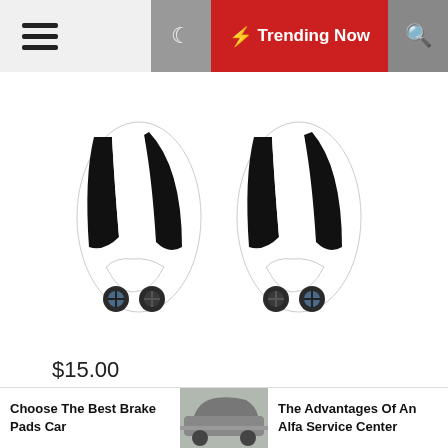☰  🌙  ⚡ Trending Now  🔍
[Figure (photo): Two pairs of black and white cycling shoe cleats with small screws at the bottom, shown from above on a white background]
$15.00
Your cycling shoes thanklessly accompany you through the toughest intervals in nature's worst
Choose The Best Brake Pads Car   [car image]   The Advantages Of An Alfa Service Center